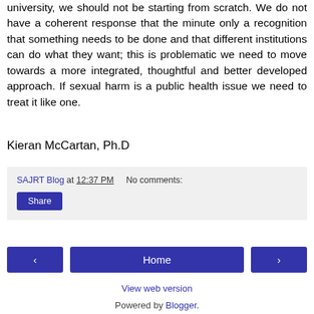university, we should not be starting from scratch. We do not have a coherent response that the minute only a recognition that something needs to be done and that different institutions can do what they want; this is problematic we need to move towards a more integrated, thoughtful and better developed approach. If sexual harm is a public health issue we need to treat it like one.
Kieran McCartan, Ph.D
SAJRT Blog at 12:37 PM   No comments:
Share
Home
View web version
Powered by Blogger.